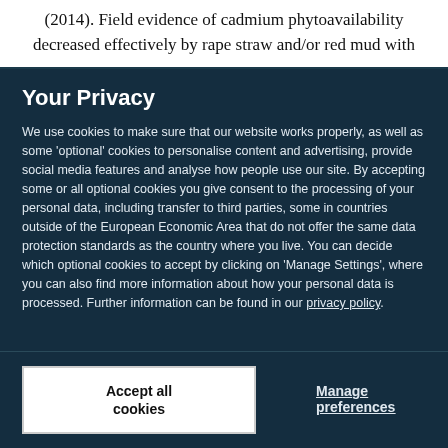(2014). Field evidence of cadmium phytoavailability decreased effectively by rape straw and/or red mud with
Your Privacy
We use cookies to make sure that our website works properly, as well as some 'optional' cookies to personalise content and advertising, provide social media features and analyse how people use our site. By accepting some or all optional cookies you give consent to the processing of your personal data, including transfer to third parties, some in countries outside of the European Economic Area that do not offer the same data protection standards as the country where you live. You can decide which optional cookies to accept by clicking on 'Manage Settings', where you can also find more information about how your personal data is processed. Further information can be found in our privacy policy.
Accept all cookies
Manage preferences